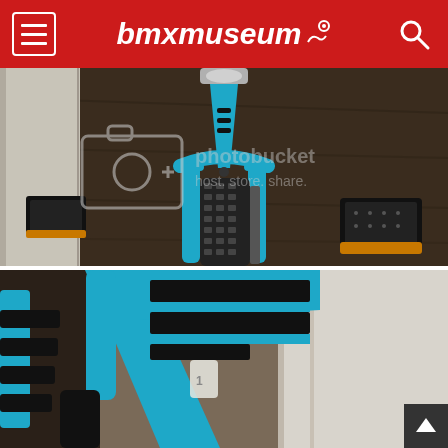bmxmuseum
[Figure (photo): Close-up front view of a bright blue BMX bike frame from above, showing the front fork, handlebars stem, top tube with cable guides, and the rear wheel with knobby tire visible through the frame triangle. A pair of black platform pedals is visible on the right. Photobucket watermark overlay present. Taken indoors on hardwood floor.]
[Figure (photo): Close-up detail of a bright blue BMX bike frame showing the head tube area and top tube with three horizontal black racing stripes. The front fork and a black knobby tire are visible on the left side. Indoor setting with white wall/door in background.]